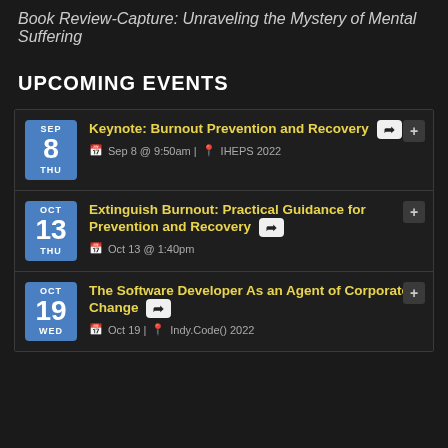Book Review-Capture: Unraveling the Mystery of Mental Suffering
UPCOMING EVENTS
SEP 8 THU | Keynote: Burnout Prevention and Recovery | Sep 8 @ 9:50am | IHEPS 2022
OCT 13 THU | Extinguish Burnout: Practical Guidance for Prevention and Recovery | Oct 13 @ 1:40pm
OCT 19 WED | The Software Developer As an Agent of Corporate Change | Oct 19 | Indy.Code() 2022